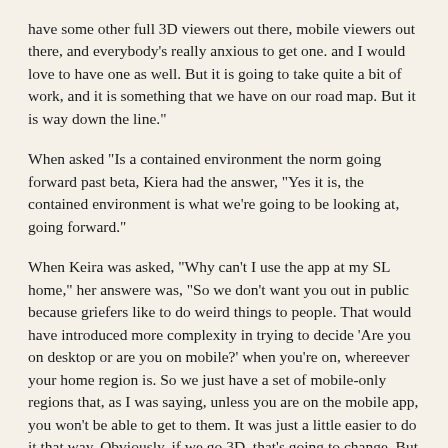have some other full 3D viewers out there, mobile viewers out there, and everybody's really anxious to get one. and I would love to have one as well. But it is going to take quite a bit of work, and it is something that we have on our road map. But it is way down the line."
When asked "Is a contained environment the norm going forward past beta, Kiera had the answer, "Yes it is, the contained environment is what we're going to be looking at, going forward."
When Keira was asked, "Why can't I use the app at my SL home," her answere was, "So we don't want you out in public because griefers like to do weird things to people. That would have introduced more complexity in trying to decide 'Are you on desktop or are you on mobile?' when you're on, whereever your home region is. So we just have a set of mobile-only regions that, as I was saying, unless you are on the mobile app, you won't be able to get to them. It was just a little easier to do it that way. Obviously, if we go 3D, that's going to change. But for now, that's what we're sticking with.
When asked about "localized chat on the app, ie inworld chat